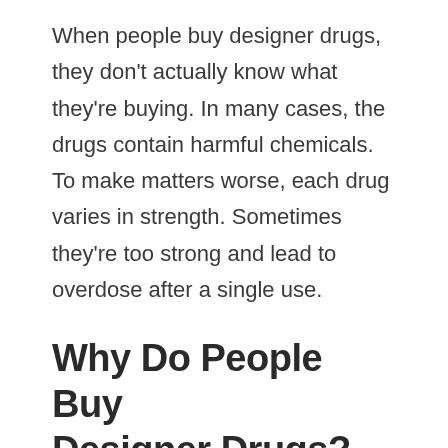When people buy designer drugs, they don't actually know what they're buying. In many cases, the drugs contain harmful chemicals. To make matters worse, each drug varies in strength. Sometimes they're too strong and lead to overdose after a single use.
Why Do People Buy Designer Drugs?
What are synthetic drugs purpose in recreational use? The main reason why people buy synthetic drugs is because